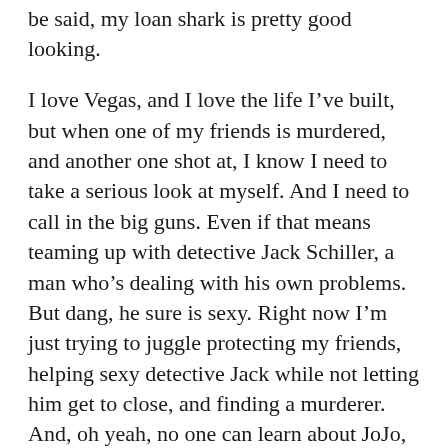be said, my loan shark is pretty good looking.
I love Vegas, and I love the life I’ve built, but when one of my friends is murdered, and another one shot at, I know I need to take a serious look at myself. And I need to call in the big guns. Even if that means teaming up with detective Jack Schiller, a man who’s dealing with his own problems. But dang, he sure is sexy. Right now I’m just trying to juggle protecting my friends, helping sexy detective Jack while not letting him get to close, and finding a murderer. And, oh yeah, no one can learn about JoJo, or this will be the last hand I’m dealt.